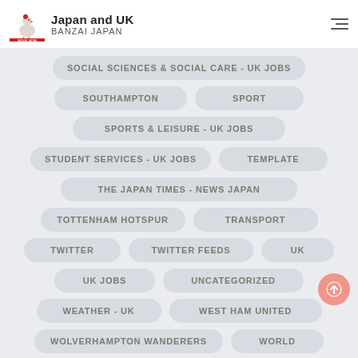Japan and UK — BANZAI JAPAN
SOCIAL SCIENCES & SOCIAL CARE - UK JOBS
SOUTHAMPTON
SPORT
SPORTS & LEISURE - UK JOBS
STUDENT SERVICES - UK JOBS
TEMPLATE
THE JAPAN TIMES - NEWS JAPAN
TOTTENHAM HOTSPUR
TRANSPORT
TWITTER
TWITTER FEEDS
UK
UK JOBS
UNCATEGORIZED
WEATHER - UK
WEST HAM UNITED
WOLVERHAMPTON WANDERERS
WORLD